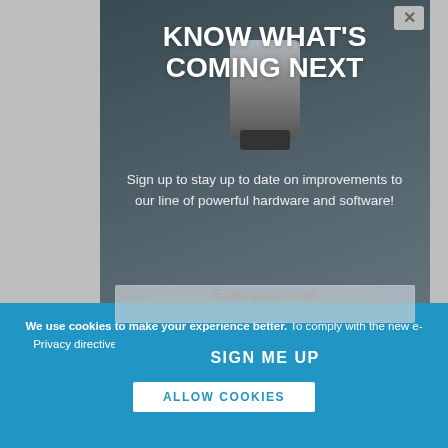[Figure (screenshot): Website background with gray area and partial text visible]
KNOW WHAT'S COMING NEXT
Sign up to stay up to date on improvements to our line of powerful hardware and software!
Enter your email
SIGN ME UP
We use cookies to make your experience better. To comply with the new e-Privacy directive, we need to ask for your consent to set the cookies. Learn more.
ALLOW COOKIES